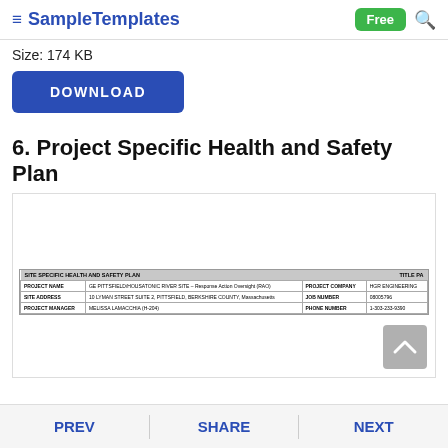≡ SampleTemplates  Free 🔍
Size: 174 KB
DOWNLOAD
6. Project Specific Health and Safety Plan
[Figure (screenshot): Preview of a Site Specific Health and Safety Plan document showing a table with fields: PROJECT NAME, SITE ADDRESS, PROJECT MANAGER, PROJECT COMPANY, JOB NUMBER, PHONE NUMBER]
PREV  SHARE  NEXT